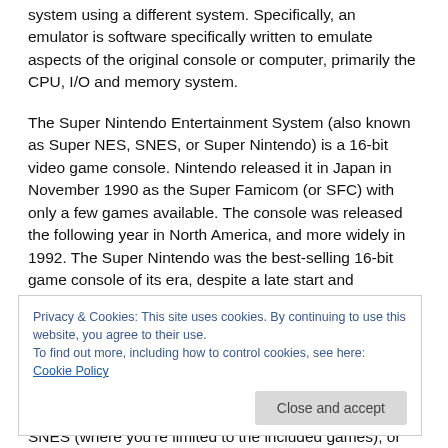system using a different system. Specifically, an emulator is software specifically written to emulate aspects of the original console or computer, primarily the CPU, I/O and memory system.
The Super Nintendo Entertainment System (also known as Super NES, SNES, or Super Nintendo) is a 16-bit video game console. Nintendo released it in Japan in November 1990 as the Super Famicom (or SFC) with only a few games available. The console was released the following year in North America, and more widely in 1992. The Super Nintendo was the best-selling 16-bit game console of its era, despite a late start and
Privacy & Cookies: This site uses cookies. By continuing to use this website, you agree to their use.
To find out more, including how to control cookies, see here: Cookie Policy
SNES (where you're limited to the included games), or